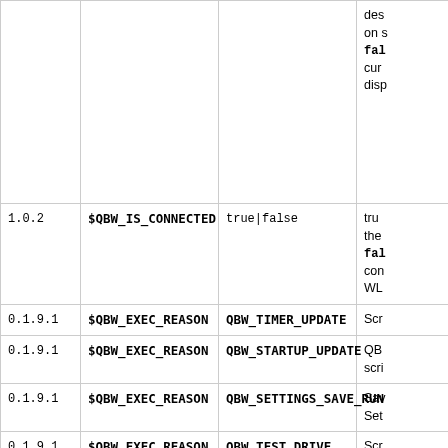| Version | Variable | Values | Description |
| --- | --- | --- | --- |
|  |  |  | des
on s
false
cur
disp |
| 1.0.2 | $QBW_IS_CONNECTED | true|false | tru
the
fal
con
WL |
| 0.1.9.1 | $QBW_EXEC_REASON | QBW_TIMER_UPDATE | Scr |
| 0.1.9.1 | $QBW_EXEC_REASON | QBW_STARTUP_UPDATE | QB
scri |
| 0.1.9.1 | $QBW_EXEC_REASON | QBW_SETTINGS_SAVE_RUN | Sav
Set |
| 0.1.9.1 | $QBW_EXEC_REASON | QBW_TEST_DRIVE | Scr
adv |
| 0.1.9.1 | $QBW_EXEC_REASON | QBW_WAKEUP_CLICK | A d
a cl |
| 0.1.9.1 | $QBW_EXEC_REASON | QBW_CLICK | An
run |
| 0.1.9.1 | $QBW_EXEC_REASON | QBW_DESKTOP_SWITCH | The
is d |